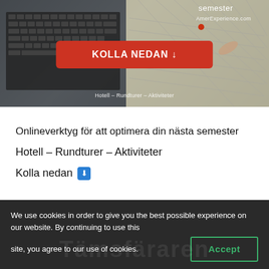[Figure (screenshot): Hero banner image showing a laptop and travel map with a red 'KOLLA NEDAN ↓' button, text 'semester', 'AmerExperience.com', and 'Hotell – Rundturer – Aktiviteter' at the bottom]
Onlineverktyg för att optimera din nästa semester
Hotell – Rundturer – Aktiviteter
Kolla nedan 🔽
We use cookies in order to give you the best possible experience on our website. By continuing to use this site, you agree to our use of cookies. Accept